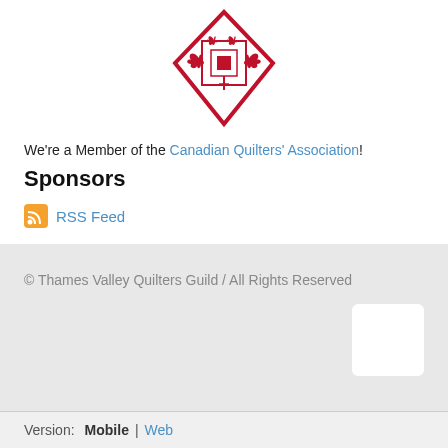[Figure (logo): Canadian Quilters' Association diamond-shaped logo in red with maple leaves and a quilt block design]
We're a Member of the Canadian Quilters' Association!
Sponsors
RSS Feed
© Thames Valley Quilters Guild / All Rights Reserved
Version: Mobile | Web